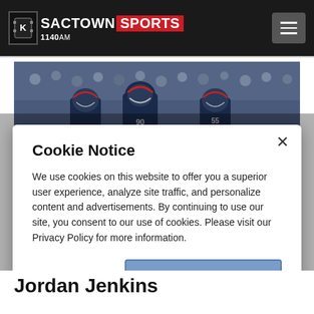SACTOWN SPORTS 1140AM
[Figure (photo): Houston Texans NFL players in dark navy and red helmets standing on sideline with crowd in background]
Cookie Notice
We use cookies on this website to offer you a superior user experience, analyze site traffic, and personalize content and advertisements. By continuing to use our site, you consent to our use of cookies. Please visit our Privacy Policy for more information.
Continue
Jordan Jenkins